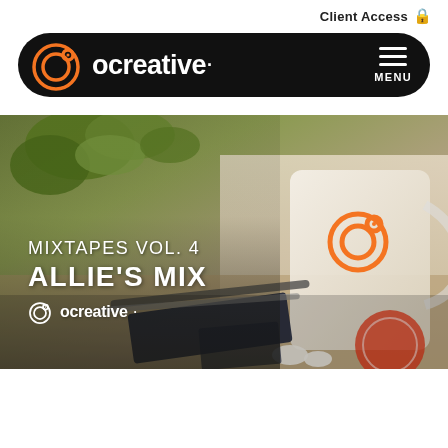Client Access 🔒
[Figure (logo): OCreative logo and navigation pill: black rounded pill containing orange circular logo icon on left, 'ocreative.' wordmark in white, and hamburger menu with MENU label on right]
[Figure (photo): Hero image showing an OCreative branded mug with orange logo on a wooden desk, alongside a plant, pens, notebook, business card, and earbuds. Overlaid text reads 'MIXTAPES VOL. 4 / ALLIE'S MIX' and the OCreative logo/wordmark in white.]